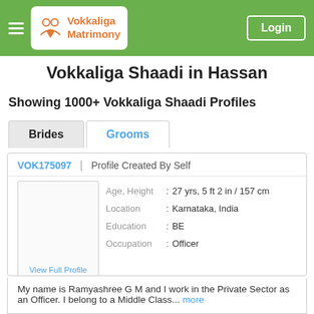Vokkaliga Matrimony — Login
Vokkaliga Shaadi in Hassan
Showing 1000+ Vokkaliga Shaadi Profiles
Brides | Grooms
| Field | Value |
| --- | --- |
| VOK175097 | Profile Created By Self |
| Age, Height | : 27 yrs, 5 ft 2 in / 157 cm |
| Location | : Karnataka, India |
| Education | : BE |
| Occupation | : Officer |
View Full Profile
Register Free
My name is Ramyashree G M and I work in the Private Sector as an Officer. I belong to a Middle Class... more